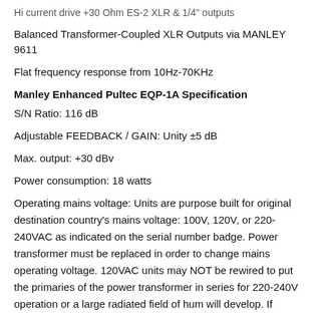Hi current drive +30 Ohm ES-2 XLR & 1/4" outputs
Balanced Transformer-Coupled XLR Outputs via MANLEY 9611
Flat frequency response from 10Hz-70KHz
Manley Enhanced Pultec EQP-1A Specification
S/N Ratio: 116 dB
Adjustable FEEDBACK / GAIN: Unity ±5 dB
Max. output: +30 dBv
Power consumption: 18 watts
Operating mains voltage: Units are purpose built for original destination country's mains voltage: 100V, 120V, or 220-240VAC as indicated on the serial number badge. Power transformer must be replaced in order to change mains operating voltage. 120VAC units may NOT be rewired to put the primaries of the power transformer in series for 220-240V operation or a large radiated field of hum will develop. If changing locations/voltages, the power transformer